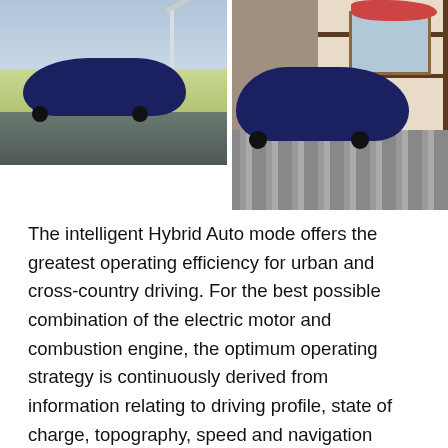[Figure (photo): Two photos of dark blue Porsche Panamera 4S E-Hybrid vehicles. Left photo shows the rear of the car on a rural road with green fields and a wind turbine in the background. Right photo shows the front of the car parked on a cobblestone surface next to a traditional German half-timbered house with red flowers.]
The intelligent Hybrid Auto mode offers the greatest operating efficiency for urban and cross-country driving. For the best possible combination of the electric motor and combustion engine, the optimum operating strategy is continuously derived from information relating to driving profile, state of charge, topography, speed and navigation destination. All-electric driving is used in situations where, in terms of overall efficiency, it is the most appropriate option. The Hybrid Auto mode of the new Panamera 4S E-Hybrid adapts optimally to the driver's habits. When route guidance is activated, the electric drive is used more intensively during urban